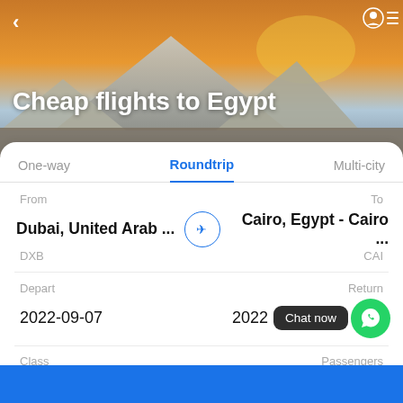[Figure (screenshot): Hero image of Egyptian pyramids with golden sunset sky background]
Cheap flights to Egypt
One-way   Roundtrip   Multi-city
From   To
Dubai, United Arab ...   Cairo, Egypt - Cairo ...
DXB   CAI
Depart   Return
2022-09-07   2022-...1
Chat now
Class   Passengers
Economy   1   0   0